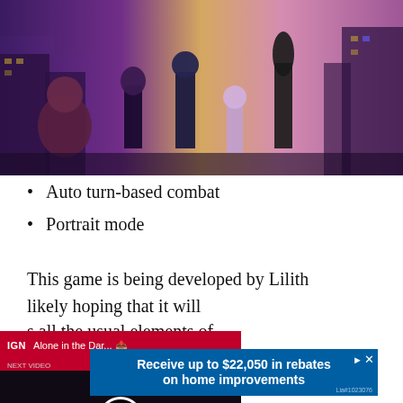[Figure (illustration): Animated scene showing group of stylized characters standing on a rooftop or elevated platform against a colorful purple and yellow city backdrop. Characters include various fantasy/sci-fi designs.]
Auto turn-based combat
Portrait mode
This game is being developed by Lilith likely hoping that it will s all the usual elements of ely themed around pop
[Figure (screenshot): Video player overlay showing 'Alone in the Dar...' title with red top bar, play button in center, and 'ALONE IN THE DARK REMAKE' text at bottom in red on dark background.]
[Figure (other): Advertisement banner: 'Receive up to $22,050 in rebates on home improvements' on blue background with Lia#1023076 label.]
The a usic